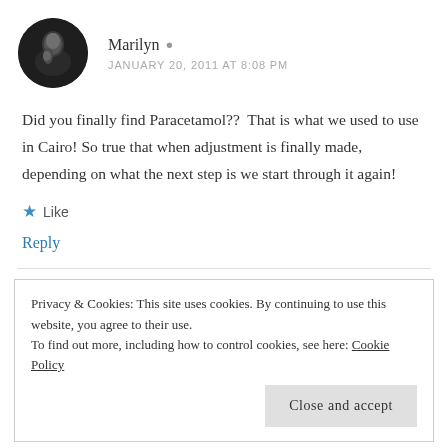[Figure (photo): Circular avatar photo of a woman with dark hair, hand near face, dark background]
Marilyn
JANUARY 20, 2011 AT 8:08 PM
Did you finally find Paracetamol??  That is what we used to use in Cairo! So true that when adjustment is finally made, depending on what the next step is we start through it again!
Like
Reply
Privacy & Cookies: This site uses cookies. By continuing to use this website, you agree to their use.
To find out more, including how to control cookies, see here: Cookie Policy
Close and accept
of a whole lot more, That concerns me, this is the situation...I ho